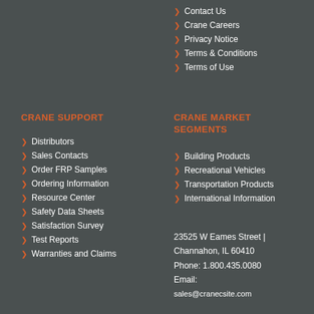Contact Us
Crane Careers
Privacy Notice
Terms & Conditions
Terms of Use
CRANE SUPPORT
Distributors
Sales Contacts
Order FRP Samples
Ordering Information
Resource Center
Safety Data Sheets
Satisfaction Survey
Test Reports
Warranties and Claims
CRANE MARKET SEGMENTS
Building Products
Recreational Vehicles
Transportation Products
International Information
23525 W Eames Street | Channahon, IL 60410
Phone: 1.800.435.0080
Email:
sales@cranecsite.com